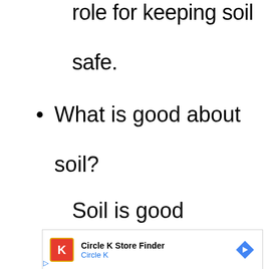role for keeping soil safe.
What is good about soil?
Soil is good
[Figure (other): Advertisement banner for Circle K Store Finder with Circle K logo, navigation arrow icon, and ad controls (play and close buttons)]